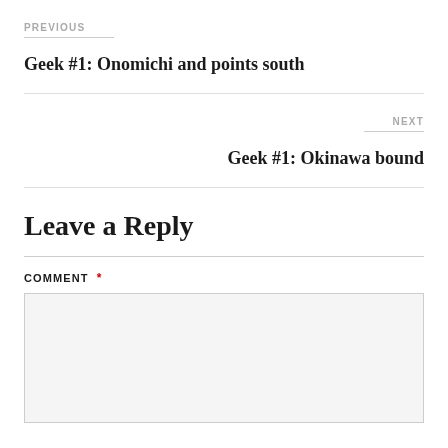PREVIOUS
Geek #1: Onomichi and points south
NEXT
Geek #1: Okinawa bound
Leave a Reply
COMMENT *